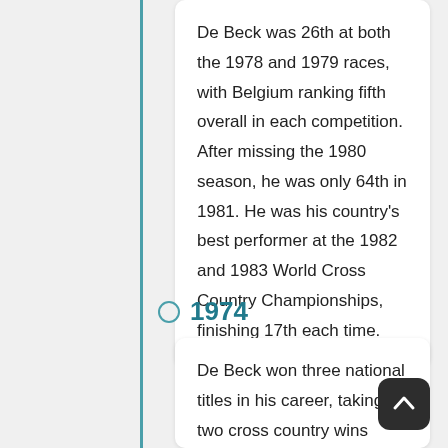De Beck was 26th at both the 1978 and 1979 races, with Belgium ranking fifth overall in each competition. After missing the 1980 season, he was only 64th in 1981. He was his country's best performer at the 1982 and 1983 World Cross Country Championships, finishing 17th each time.
1974
De Beck won three national titles in his career, taking two cross country wins (1974 and 1976) and one 10,000 metres title (1983). He totalled nine appearances at the IAAF World Cross Country Championships as well as three outings at